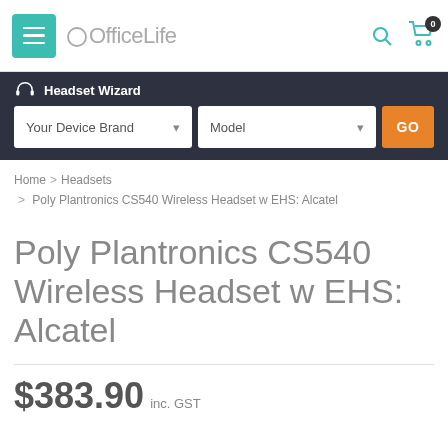OfficeLife
Headset Wizard
Your Device Brand | Model | GO
Home > Headsets > Poly Plantronics CS540 Wireless Headset w EHS: Alcatel
Poly Plantronics CS540 Wireless Headset w EHS: Alcatel
$383.90 inc. GST